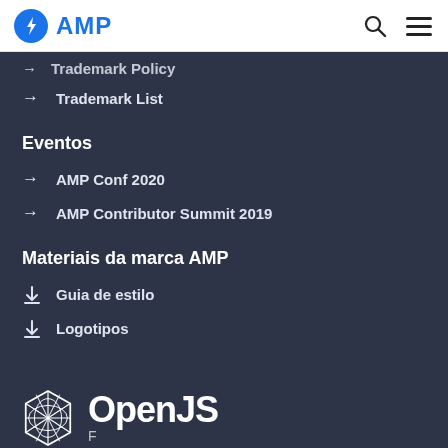AMP
Trademark Policy
Trademark List
Eventos
AMP Conf 2020
AMP Contributor Summit 2019
Materiais da marca AMP
Guia de estilo
Logotipos
[Figure (logo): OpenJS Foundation logo with geometric diamond/sphere icon and OpenJS text in white on dark background]